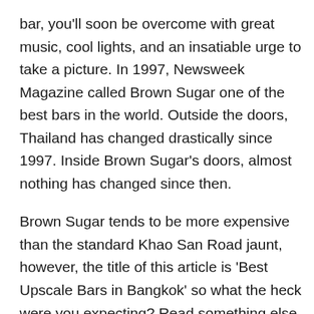bar, you'll soon be overcome with great music, cool lights, and an insatiable urge to take a picture. In 1997, Newsweek Magazine called Brown Sugar one of the best bars in the world. Outside the doors, Thailand has changed drastically since 1997. Inside Brown Sugar's doors, almost nothing has changed since then.
Brown Sugar tends to be more expensive than the standard Khao San Road jaunt, however, the title of this article is 'Best Upscale Bars in Bangkok' so what the heck were you expecting? Read something else if you want cheap!
Tropic City